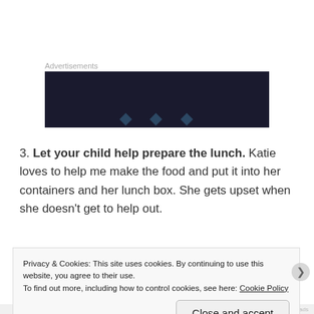[Figure (other): Advertisement banner with dark navy background and faint text/logo]
3. Let your child help prepare the lunch. Katie loves to help me make the food and put it into her containers and her lunch box. She gets upset when she doesn't get to help out.
[Figure (photo): Photo showing food items including what appears to be oranges/mandarins on a dark surface]
Privacy & Cookies: This site uses cookies. By continuing to use this website, you agree to their use.
To find out more, including how to control cookies, see here: Cookie Policy
Close and accept